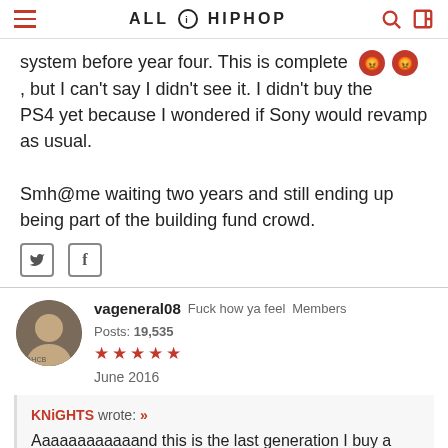ALL HIPHOP
system before year four. This is complete [angry emoji x2], but I can't say I didn't see it. I didn't buy the PS4 yet because I wondered if Sony would revamp as usual.

Smh@me waiting two years and still ending up being part of the building fund crowd.
vageneral08  Fuck how ya feel  Members  Posts: 19,535
★★★★★
June 2016
KNiGHTS wrote: »
Aaaaaaaaaaaand this is the last generation I buy a system before year four. This is complete [angry emoji x2],